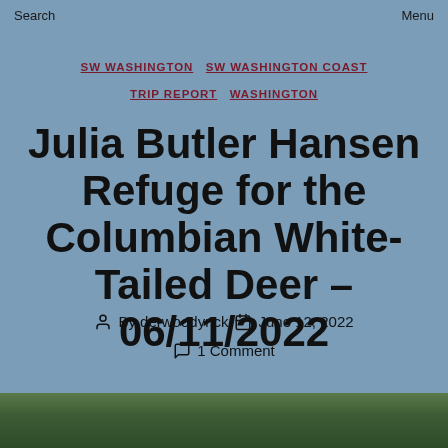Search    Menu
SW WASHINGTON  SW WASHINGTON COAST  TRIP REPORT  WASHINGTON
Julia Butler Hansen Refuge for the Columbian White-Tailed Deer – 06/11/2022
By derwoodynck   June 12, 2022   1 Comment
[Figure (photo): Green grass and vegetation at the bottom of the page]